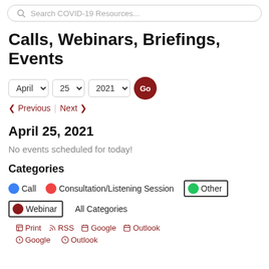Search COVID-19 Resources...
Calls, Webinars, Briefings, Events
April 25 2021 Go | Previous | Next
April 25, 2021
No events scheduled for today!
Categories
Call | Consultation/Listening Session | Other | Webinar | All Categories
Print | RSS | Google | Outlook | Google | Outlook